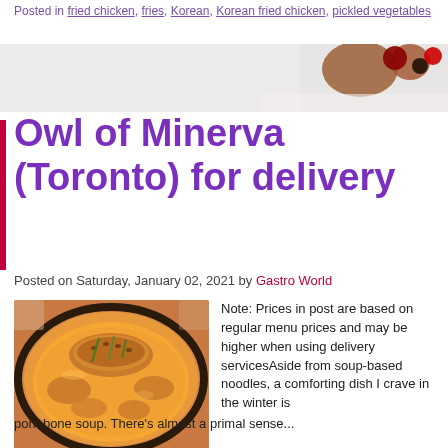Posted in fried chicken, fries, Korean, Korean fried chicken, pickled vegetables
[Figure (photo): Hero banner with blurred food image showing dessert/berries on right side]
Owl of Minerva (Toronto) for delivery
Posted on Saturday, January 02, 2021 by Gastro World
[Figure (photo): Close-up photo of a bowl of Korean pork bone soup with orange broth, fried chicken pieces on top with sesame seeds and green onions]
Note: Prices in post are based on regular menu prices and may be higher when using delivery servicesAside from soup-based noodles, a comforting dish I crave in the winter is pork bone soup. There's almost a primal sense...